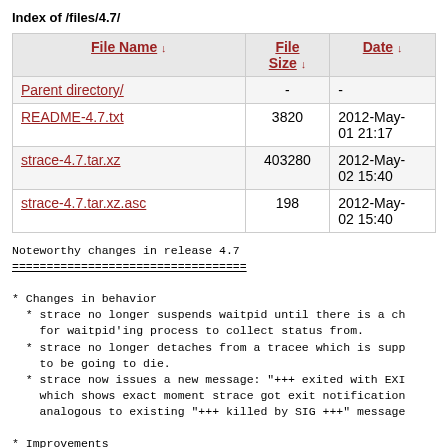Index of /files/4.7/
| File Name ↓ | File Size ↓ | Date ↓ |
| --- | --- | --- |
| Parent directory/ | - | - |
| README-4.7.txt | 3820 | 2012-May-01 21:17 |
| strace-4.7.tar.xz | 403280 | 2012-May-02 15:40 |
| strace-4.7.tar.xz.asc | 198 | 2012-May-02 15:40 |
Noteworthy changes in release 4.7
==================================

* Changes in behavior
  * strace no longer suspends waitpid until there is a ch
    for waitpid'ing process to collect status from.
  * strace no longer detaches from a tracee which is supp
    to be going to die.
  * strace now issues a new message: "+++ exited with EXI
    which shows exact moment strace got exit notification
    analogous to existing "+++ killed by SIG +++" message

* Improvements